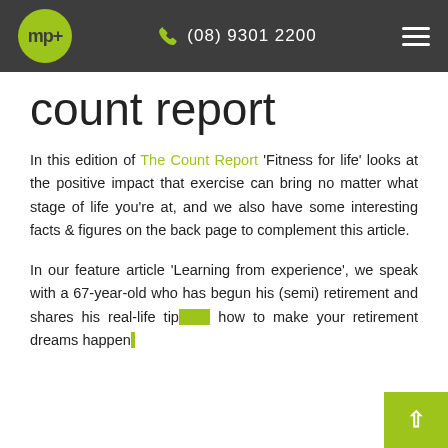mp+ | (08) 9301 2200
count report
In this edition of The Count Report 'Fitness for life' looks at the positive impact that exercise can bring no matter what stage of life you're at, and we also have some interesting facts & figures on the back page to complement this article.
In our feature article 'Learning from experience', we speak with a 67-year-old who has begun his (semi) retirement and shares his real-life tips on how to make your retirement dreams happen.